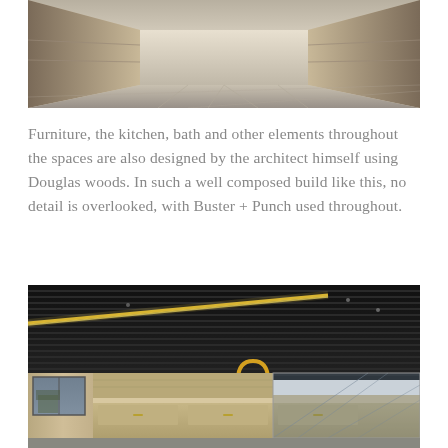[Figure (photo): Interior hallway or corridor with wood-paneled walls on both sides, light-colored flooring with perspective view looking down the length of the passage]
Furniture, the kitchen, bath and other elements throughout the spaces are also designed by the architect himself using Douglas woods. In such a well composed build like this, no detail is overlooked, with Buster + Punch used throughout.
[Figure (photo): Interior architectural photo showing a dark slatted black ceiling with a diagonal linear pendant light, a kitchen island with wood cabinets, a gold/brass arched faucet, glass panels, and a window looking out to trees. The space features contrasting dark ceiling and warm wood tones throughout.]